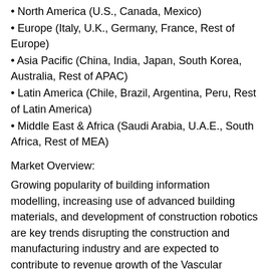• North America (U.S., Canada, Mexico)
• Europe (Italy, U.K., Germany, France, Rest of Europe)
• Asia Pacific (China, India, Japan, South Korea, Australia, Rest of APAC)
• Latin America (Chile, Brazil, Argentina, Peru, Rest of Latin America)
• Middle East & Africa (Saudi Arabia, U.A.E., South Africa, Rest of MEA)
Market Overview:
Growing popularity of building information modelling, increasing use of advanced building materials, and development of construction robotics are key trends disrupting the construction and manufacturing industry and are expected to contribute to revenue growth of the Vascular Imaging market over the forecast period. Increasing demand for sustainable and energy-efficient buildings has led to development of intelligent building solutions that provide